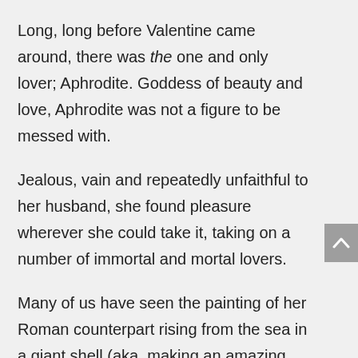Long, long before Valentine came around, there was the one and only lover; Aphrodite. Goddess of beauty and love, Aphrodite was not a figure to be messed with.
Jealous, vain and repeatedly unfaithful to her husband, she found pleasure wherever she could take it, taking on a number of immortal and mortal lovers.
Many of us have seen the painting of her Roman counterpart rising from the sea in a giant shell (aka, making an amazing